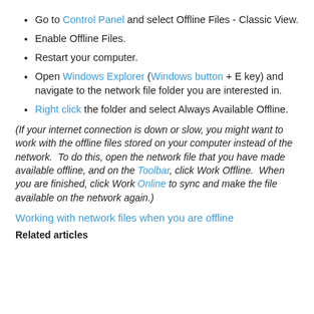Go to Control Panel and select Offline Files - Classic View.
Enable Offline Files.
Restart your computer.
Open Windows Explorer (Windows button + E key) and navigate to the network file folder you are interested in.
Right click the folder and select Always Available Offline.
(If your internet connection is down or slow, you might want to work with the offline files stored on your computer instead of the network.  To do this, open the network file that you have made available offline, and on the Toolbar, click Work Offline.  When you are finished, click Work Online to sync and make the file available on the network again.)
Working with network files when you are offline
Related articles